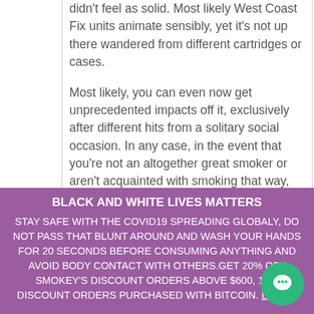didn't feel as solid. Most likely West Coast Fix units animate sensibly, yet it's not up there wandered from different cartridges or cases.
Most likely, you can even now get unprecedented impacts off it, exclusively after different hits from a solitary social occasion. In any case, in the event that you're not an altogether great smoker or aren't acquainted with smoking that way, the strength apparently won't satisfy each incredible smoker. Nova carts unit passes on unimaginably rich and
BLACK AND WHITE LIVES MATTERS STAY SAFE WITH THE COVID19 SPREADING GLOBALY, DO NOT PASS THAT BLUNT AROUND AND WASH YOUR HANDS FOR 20 SECONDS BEFORE CONSUMING ANYTHING AND AVOID BODY CONTACT WITH OTHERS.GET 20% OFF SMOKEY'S DISCOUNT ORDERS ABOVE $600, 16% DISCOUNT ORDERS PURCHASED WITH BITCOIN. Dismiss